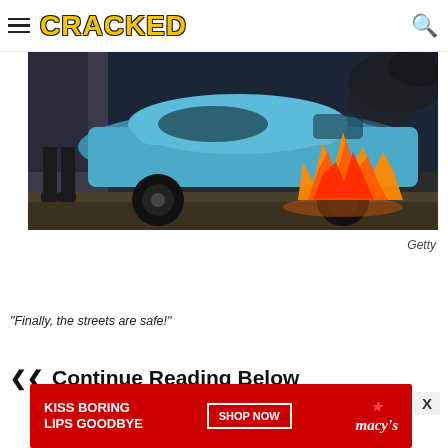CRACKED
[Figure (photo): A blue compact car on fire in a street, with large orange flames engulfing the rear wheel area and black smoke rising. A person's legs visible at left.]
Getty
"Finally, the streets are safe!"
Continue Reading Below
[Figure (photo): Advertisement banner: KISS BORING LIPS GOODBYE with SHOP NOW button and Macy's logo on red background.]